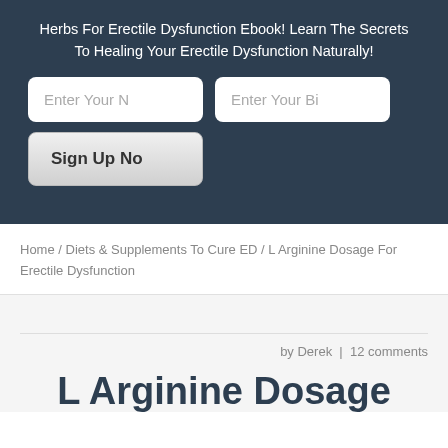Herbs For Erectile Dysfunction Ebook! Learn The Secrets To Healing Your Erectile Dysfunction Naturally!
Enter Your N
Enter Your Bi
Sign Up No
Home / Diets & Supplements To Cure ED / L Arginine Dosage For Erectile Dysfunction
by Derek | 12 comments
L Arginine Dosage